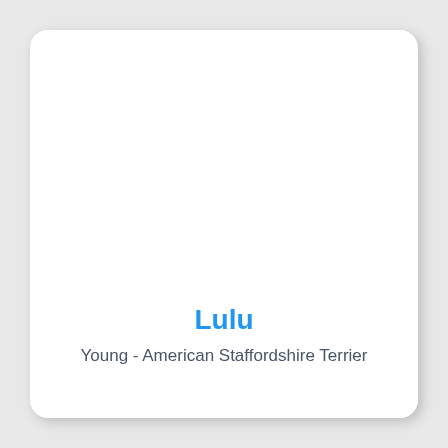Lulu
Young - American Staffordshire Terrier